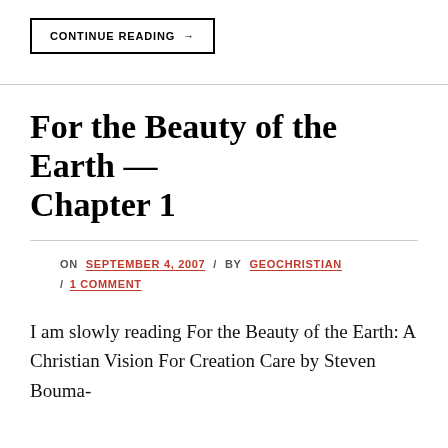CONTINUE READING →
For the Beauty of the Earth — Chapter 1
ON SEPTEMBER 4, 2007 / BY GEOCHRISTIAN / 1 COMMENT
I am slowly reading For the Beauty of the Earth: A Christian Vision For Creation Care by Steven Bouma-